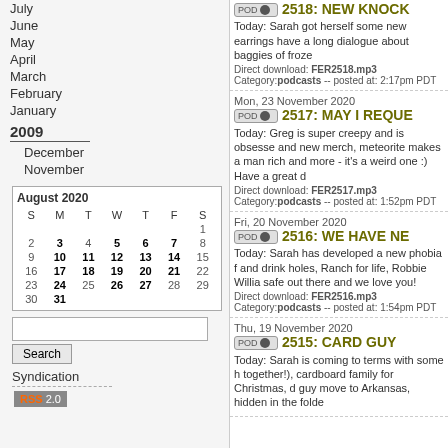July
June
May
April
March
February
January
2009
December
November
| S | M | T | W | T | F | S |
| --- | --- | --- | --- | --- | --- | --- |
|  |  |  |  |  |  | 1 |
| 2 | 3 | 4 | 5 | 6 | 7 | 8 |
| 9 | 10 | 11 | 12 | 13 | 14 | 15 |
| 16 | 17 | 18 | 19 | 20 | 21 | 22 |
| 23 | 24 | 25 | 26 | 27 | 28 | 29 |
| 30 | 31 |  |  |  |  |  |
Search
Syndication
RSS 2.0
Mon, 23 November 2020
2517: MAY I REQUE
Today: Greg is super creepy and is obsesse and new merch, meteorite makes a man rich and more - it's a weird one :) Have a great d
Direct download: FER2517.mp3 Category:podcasts -- posted at: 1:52pm PDT
Fri, 20 November 2020
2516: WE HAVE NE
Today: Sarah has developed a new phobia f and drink holes, Ranch for life, Robbie Willia safe out there and we love you!
Direct download: FER2516.mp3 Category:podcasts -- posted at: 1:54pm PDT
Thu, 19 November 2020
2515: CARD GUY
Today: Sarah is coming to terms with some h together!), cardboard family for Christmas, d guy move to Arkansas, hidden in the folde